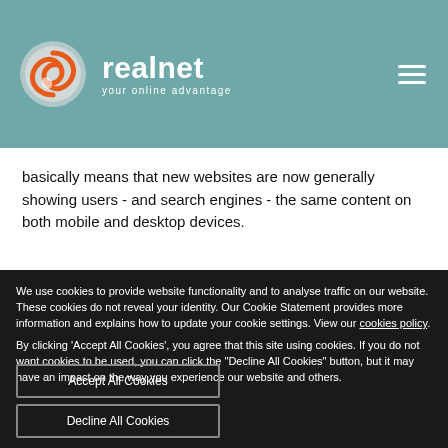[Figure (logo): Realnet logo with orange swirl circle and text 'realnet your online advantage' on teal header background]
basically means that new websites are now generally showing users - and search engines - the same content on both mobile and desktop devices.
We use cookies to provide website functionality and to analyse traffic on our website. These cookies do not reveal your identity. Our Cookie Statement provides more information and explains how to update your cookie settings. View our cookies policy.
By clicking 'Accept All Cookies', you agree that this site using cookies. If you do not want cookies to be used, you can click the "Decline All Cookies" button, but it may have an impact on the way you experience our website and others.
Accept All Cookies
Decline All Cookies